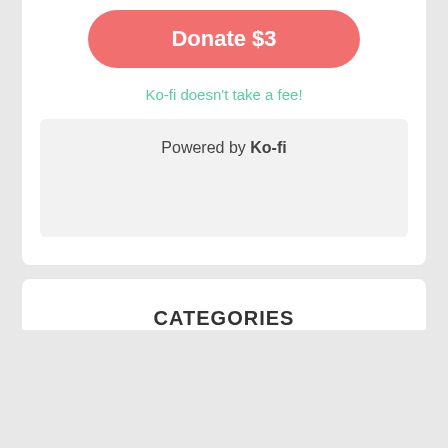[Figure (other): Donate $3 button — rounded rectangle with coral/red background and white bold text]
Ko-fi doesn't take a fee!
Powered by Ko-fi
CATEGORIES